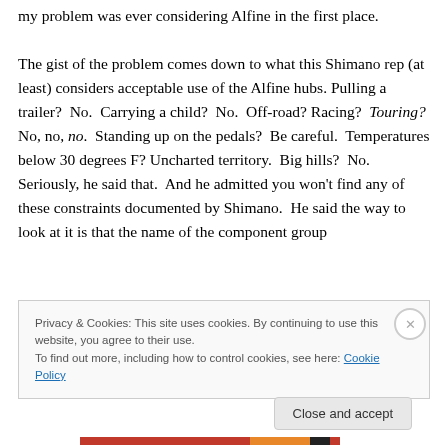my problem was ever considering Alfine in the first place.

The gist of the problem comes down to what this Shimano rep (at least) considers acceptable use of the Alfine hubs. Pulling a trailer? No. Carrying a child? No. Off-road? Racing? Touring? No, no, no. Standing up on the pedals? Be careful. Temperatures below 30 degrees F? Uncharted territory. Big hills? No. Seriously, he said that. And he admitted you won't find any of these constraints documented by Shimano. He said the way to look at it is that the name of the component group
Privacy & Cookies: This site uses cookies. By continuing to use this website, you agree to their use.
To find out more, including how to control cookies, see here: Cookie Policy